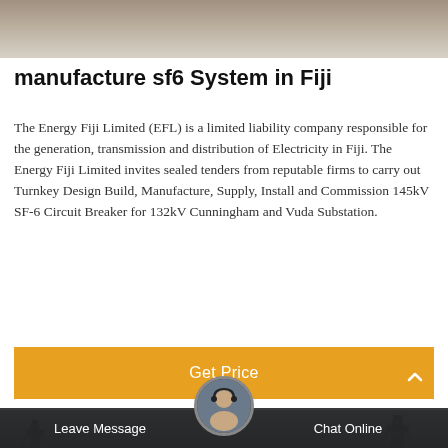[Figure (photo): Top portion of an industrial/electrical infrastructure scene, gray-brown tones]
manufacture sf6 System in Fiji
The Energy Fiji Limited (EFL) is a limited liability company responsible for the generation, transmission and distribution of Electricity in Fiji. The Energy Fiji Limited invites sealed tenders from reputable firms to carry out Turnkey Design Build, Manufacture, Supply, Install and Commission 145kV SF-6 Circuit Breaker for 132kV Cunningham and Vuda Substation.
[Figure (screenshot): Orange Get Price button]
[Figure (photo): Bottom portion showing electrical power line towers against a cloudy sky, with dark bottom navigation bar containing Leave Message and Chat Online options and a customer service avatar]